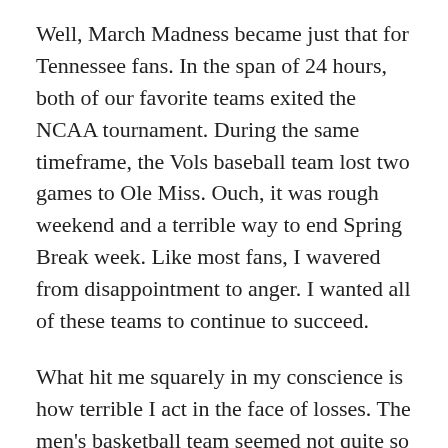Well, March Madness became just that for Tennessee fans. In the span of 24 hours, both of our favorite teams exited the NCAA tournament. During the same timeframe, the Vols baseball team lost two games to Ole Miss. Ouch, it was rough weekend and a terrible way to end Spring Break week. Like most fans, I wavered from disappointment to anger. I wanted all of these teams to continue to succeed.
What hit me squarely in my conscience is how terrible I act in the face of losses. The men's basketball team seemed not quite so inspired in their game against Loyola. Of course, that could be in part because the opponent played well and defended closely. I tried to call out the refs for glaringly incorrect calls, but that fact is becoming part of the game now. I fumed about